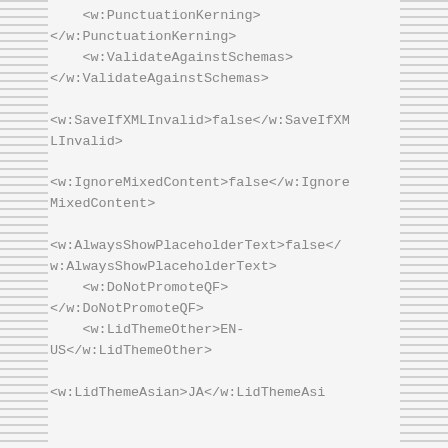<w:PunctuationKerning>
</w:PunctuationKerning>
    <w:ValidateAgainstSchemas>
</w:ValidateAgainstSchemas>

<w:SaveIfXMLInvalid>false</w:SaveIfXMLInvalid>

<w:IgnoreMixedContent>false</w:IgnoreMixedContent>

<w:AlwaysShowPlaceholderText>false</w:AlwaysShowPlaceholderText>
    <w:DoNotPromoteQF>
</w:DoNotPromoteQF>
    <w:LidThemeOther>EN-US</w:LidThemeOther>

<w:LidThemeAsian>JA</w:LidThemeAsian>